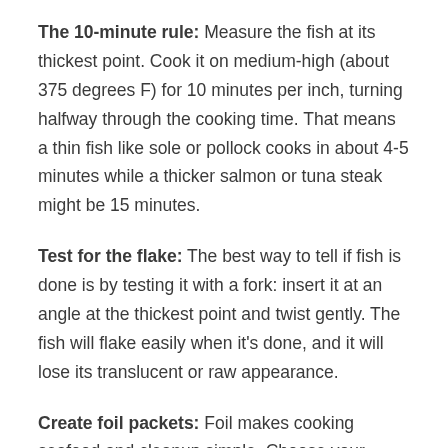The 10-minute rule: Measure the fish at its thickest point. Cook it on medium-high (about 375 degrees F) for 10 minutes per inch, turning halfway through the cooking time. That means a thin fish like sole or pollock cooks in about 4-5 minutes while a thicker salmon or tuna steak might be 15 minutes.
Test for the flake: The best way to tell if fish is done is by testing it with a fork: insert it at an angle at the thickest point and twist gently. The fish will flake easily when it's done, and it will lose its translucent or raw appearance.
Create foil packets: Foil makes cooking seafood and cleanup simple. Choose your seafood, such as shrimp or a piece of fish, and vegetables such as bell pepper,